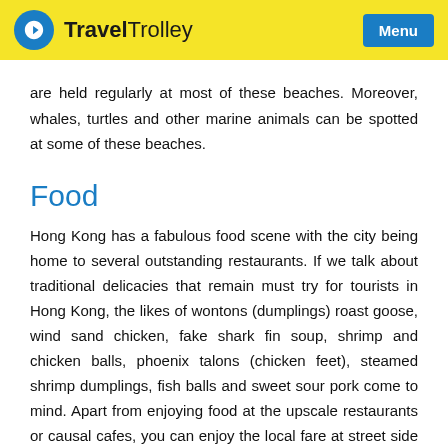Travel Trolley | Menu
are held regularly at most of these beaches. Moreover, whales, turtles and other marine animals can be spotted at some of these beaches.
Food
Hong Kong has a fabulous food scene with the city being home to several outstanding restaurants. If we talk about traditional delicacies that remain must try for tourists in Hong Kong, the likes of wontons (dumplings) roast goose, wind sand chicken, fake shark fin soup, shrimp and chicken balls, phoenix talons (chicken feet), steamed shrimp dumplings, fish balls and sweet sour pork come to mind. Apart from enjoying food at the upscale restaurants or causal cafes, you can enjoy the local fare at street side eateries.